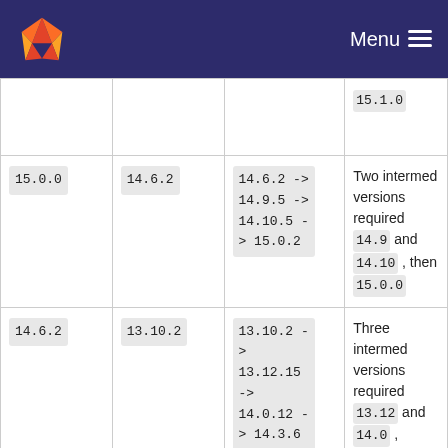GitLab logo | Menu
| Target version | Your version | Upgrade path | Notes |
| --- | --- | --- | --- |
|  |  |  | 15.1.0 |
| 15.0.0 | 14.6.2 | 14.6.2 -> 14.9.5 -> 14.10.5 -> 15.0.2 | Two intermediate versions required 14.9 and 14.10 , then 15.0.0 |
| 14.6.2 | 13.10.2 | 13.10.2 -> 13.12.15 -> 14.0.12 -> 14.3.6 => 14.6.2 | Three intermediate versions required 13.12 and 14.0 , 14.3 , then 14.6.2 |